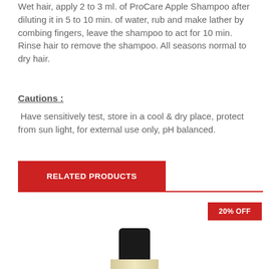Wet hair, apply 2 to 3 ml. of ProCare Apple Shampoo after diluting it in 5 to 10 min. of water, rub and make lather by combing fingers, leave the shampoo to act for 10 min.  Rinse hair to remove the shampoo. All seasons normal to dry hair.
Cautions :
Have sensitively test, store in a cool & dry place, protect from sun light, for external use only, pH balanced.
RELATED PRODUCTS
20% OFF
[Figure (photo): Product bottle with black cap and cream/beige body visible from the top portion]